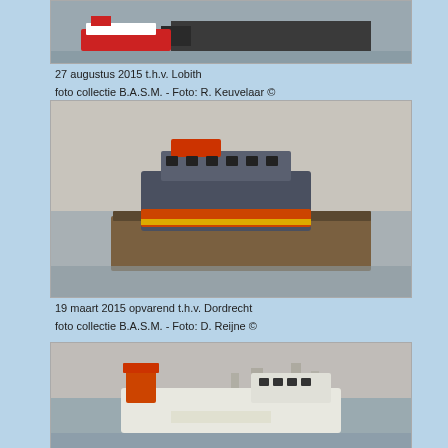[Figure (photo): Partial photo of ships on a river, top portion visible, showing a red and white vessel and a dark barge on grey water.]
27 augustus 2015 t.h.v. Lobith
foto collectie B.A.S.M. - Foto: R. Keuvelaar ©
[Figure (photo): Photo of a vessel on the river at Dordrecht, showing an orange/red and grey ship alongside a barge, in hazy conditions.]
19 maart 2015 opvarend t.h.v. Dordrecht
foto collectie B.A.S.M. - Foto: D. Reijne ©
[Figure (photo): Partial photo showing a white and orange vessel on a river, with city skyline visible in the hazy background, bottom portion of page.]